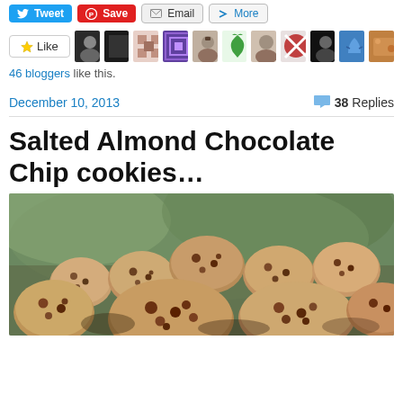[Figure (screenshot): Social sharing buttons row: Tweet (blue), Save (red), Email (gray), More (gray with blue arrow icon)]
[Figure (screenshot): Like button and row of 11 blogger avatar thumbnails]
46 bloggers like this.
December 10, 2013
38 Replies
Salted Almond Chocolate Chip cookies…
[Figure (photo): Close-up photo of chocolate chip cookies piled together, with a blurred green background]